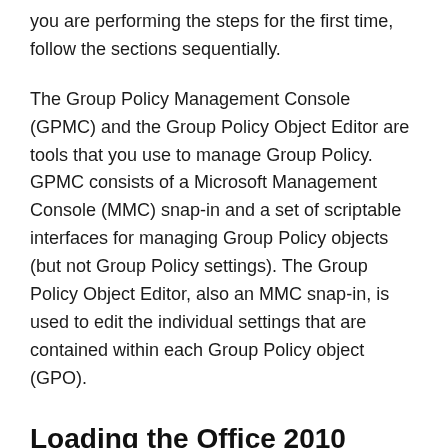you are performing the steps for the first time, follow the sections sequentially.
The Group Policy Management Console (GPMC) and the Group Policy Object Editor are tools that you use to manage Group Policy. GPMC consists of a Microsoft Management Console (MMC) snap-in and a set of scriptable interfaces for managing Group Policy objects (but not Group Policy settings). The Group Policy Object Editor, also an MMC snap-in, is used to edit the individual settings that are contained within each Group Policy object (GPO).
Loading the Office 2010 Administrative Templates
To download the Office 2010 administrative templates, see Office 2010 Administrative Template files (ADM, ADMX, ADML) and Office Customization Tool